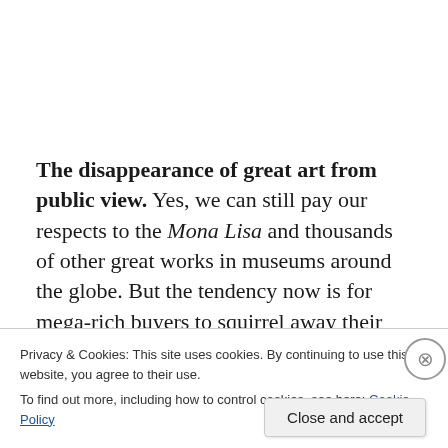The disappearance of great art from public view. Yes, we can still pay our respects to the Mona Lisa and thousands of other great works in museums around the globe. But the tendency now is for mega-rich buyers to squirrel away their prizes and effectively make them
Privacy & Cookies: This site uses cookies. By continuing to use this website, you agree to their use.
To find out more, including how to control cookies, see here: Cookie Policy